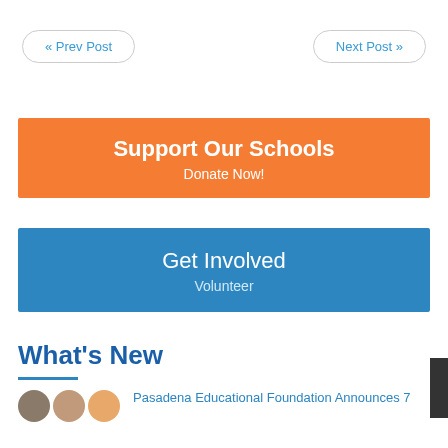« Prev Post
Next Post »
Support Our Schools
Donate Now!
Get Involved
Volunteer
What's New
Pasadena Educational Foundation Announces 7